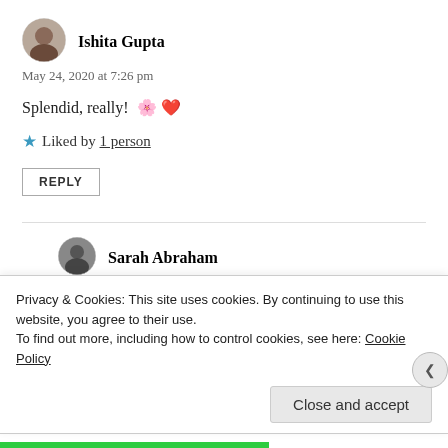[Figure (photo): Avatar photo of Ishita Gupta]
Ishita Gupta
May 24, 2020 at 7:26 pm
Splendid, really! 🌸❤️
★ Liked by 1 person
REPLY
[Figure (photo): Avatar photo of Sarah Abraham]
Sarah Abraham
May 24, 2020 at 9:33 pm
I like very much the mix of fresh tones in the last verse...
Privacy & Cookies: This site uses cookies. By continuing to use this website, you agree to their use. To find out more, including how to control cookies, see here: Cookie Policy
Close and accept